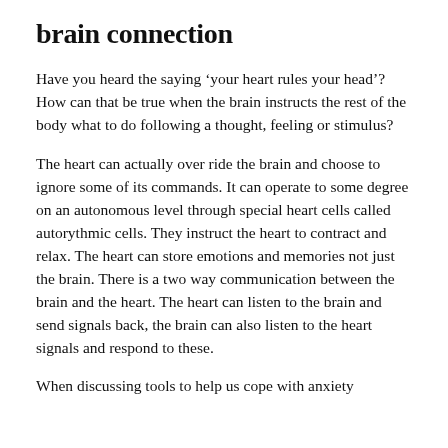brain connection
Have you heard the saying ‘your heart rules your head’? How can that be true when the brain instructs the rest of the body what to do following a thought, feeling or stimulus?
The heart can actually over ride the brain and choose to ignore some of its commands. It can operate to some degree on an autonomous level through special heart cells called autorythmic cells. They instruct the heart to contract and relax. The heart can store emotions and memories not just the brain. There is a two way communication between the brain and the heart. The heart can listen to the brain and send signals back, the brain can also listen to the heart signals and respond to these.
When discussing tools to help us cope with anxiety